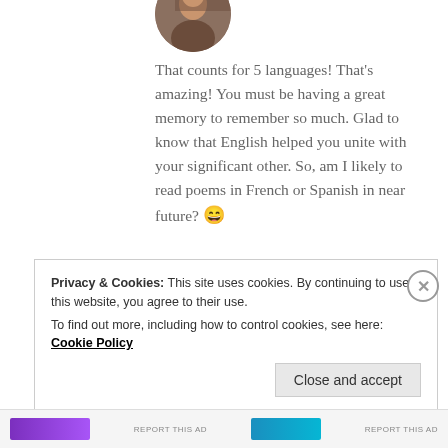[Figure (photo): Circular avatar photo of a person, partially cropped at top]
That counts for 5 languages! That's amazing! You must be having a great memory to remember so much. Glad to know that English helped you unite with your significant other. So, am I likely to read poems in French or Spanish in near future? 😄
★ Liked by 2 people
Privacy & Cookies: This site uses cookies. By continuing to use this website, you agree to their use.
To find out more, including how to control cookies, see here: Cookie Policy
Close and accept